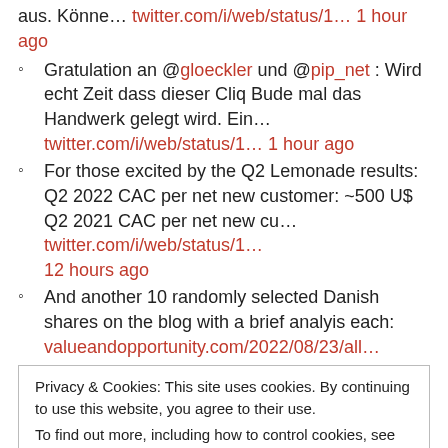aus. Könne… twitter.com/i/web/status/1… 1 hour ago
Gratulation an @gloeckler und @pip_net : Wird echt Zeit dass dieser Cliq Bude mal das Handwerk gelegt wird. Ein… twitter.com/i/web/status/1… 1 hour ago
For those excited by the Q2 Lemonade results: Q2 2022 CAC per net new customer: ~500 U$ Q2 2021 CAC per net new cu… twitter.com/i/web/status/1… 12 hours ago
And another 10 randomly selected Danish shares on the blog with a brief analyis each: valueandopportunity.com/2022/08/23/all… 17 hours ago
Privacy & Cookies: This site uses cookies. By continuing to use this website, you agree to their use. To find out more, including how to control cookies, see here: Cookie Policy
Close and accept